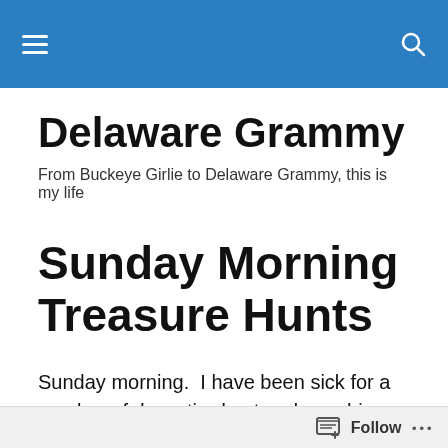Delaware Grammy [navigation bar]
Delaware Grammy
From Buckeye Girlie to Delaware Grammy, this is my life
Sunday Morning Treasure Hunts
Sunday morning.  I have been sick for a number of days, tired out and coughing.  This is some kind of “crud” as I’ve heard it called, and seems to be highly contagious. But I am better, (somewhat) and I have a Sunday School Class that I am loathe to lend out.  Besides, there was a special
Follow